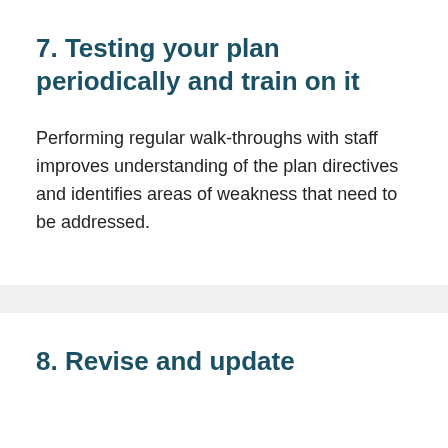7. Testing your plan periodically and train on it
Performing regular walk-throughs with staff improves understanding of the plan directives and identifies areas of weakness that need to be addressed.
8. Revise and update